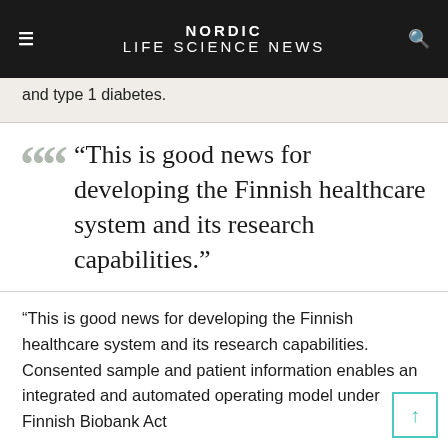NORDIC LIFE SCIENCE NEWS
and type 1 diabetes.
“This is good news for developing the Finnish healthcare system and its research capabilities.”
“This is good news for developing the Finnish healthcare system and its research capabilities. Consented sample and patient information enables an integrated and automated operating model under Finnish Biobank Act